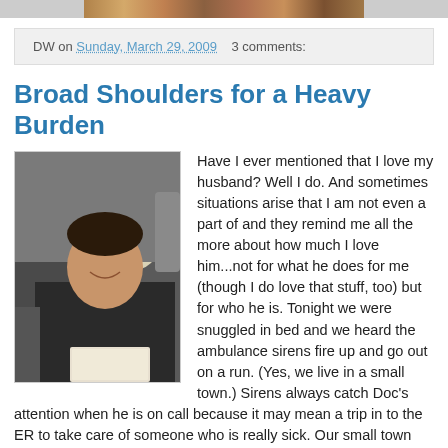[Figure (photo): Partial view of a photo strip at the top of the page showing people]
DW on Sunday, March 29, 2009    3 comments:
Broad Shoulders for a Heavy Burden
[Figure (photo): A smiling man sitting in an airplane seat, holding what appears to be a book or magazine]
Have I ever mentioned that I love my husband? Well I do. And sometimes situations arise that I am not even a part of and they remind me all the more about how much I love him...not for what he does for me (though I do love that stuff, too) but for who he is. Tonight we were snuggled in bed and we heard the ambulance sirens fire up and go out on a run. (Yes, we live in a small town.) Sirens always catch Doc's attention when he is on call because it may mean a trip in to the ER to take care of someone who is really sick. Our small town ER has Physician's Assistants working a lot